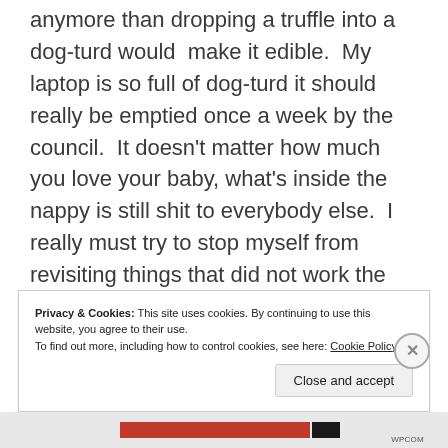anymore than dropping a truffle into a dog-turd would make it edible. My laptop is so full of dog-turd it should really be emptied once a week by the council. It doesn't matter how much you love your baby, what's inside the nappy is still shit to everybody else. I really must try to stop myself from revisiting things that did not work the first time. I cannot make them work: at best they still do not work, just in a different way. Backwards is never the way forwards.
Privacy & Cookies: This site uses cookies. By continuing to use this website, you agree to their use.
To find out more, including how to control cookies, see here: Cookie Policy
Close and accept